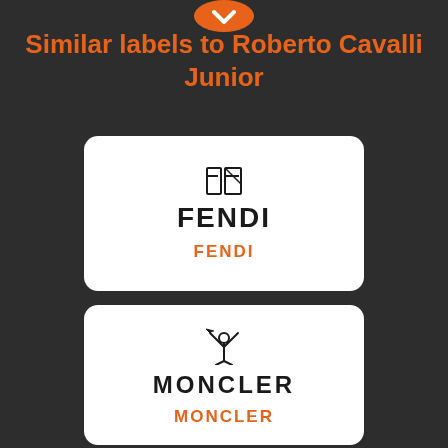[Figure (logo): Orange heart/tag icon at top]
Similar labels to Roberto Cavalli Junior
[Figure (logo): Fendi brand card with double-F logo and FENDI text, orange FENDI label below]
[Figure (logo): Moncler brand card with stylized figure logo and MONCLER text, orange MONCLER label below]